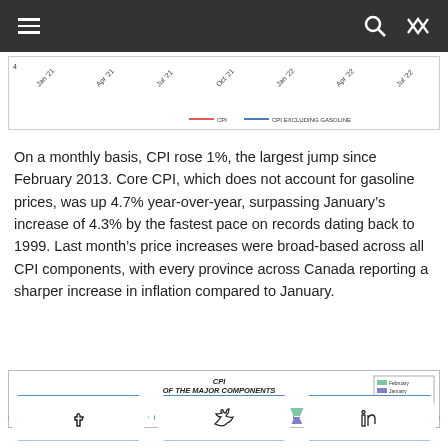Navigation bar with menu, search, and shuffle icons
[Figure (continuous-plot): Partial top of a line chart showing CPI and CPI Excluding Gasoline lines over time, with legend at bottom]
On a monthly basis, CPI rose 1%, the largest jump since February 2013. Core CPI, which does not account for gasoline prices, was up 4.7% year-over-year, surpassing January's increase of 4.3% by the fastest pace on records dating back to 1999. Last month's price increases were broad-based across all CPI components, with every province across Canada reporting a sharper increase in inflation compared to January.
[Figure (bar-chart): Partial bar chart showing CPI of the Major Components YoY % Change, with Alcoholic beverages, tobacco products and recreational cannabis visible as first category with two bars (green and purple)]
[Figure (other): Social share buttons for Facebook, Twitter, and LinkedIn]